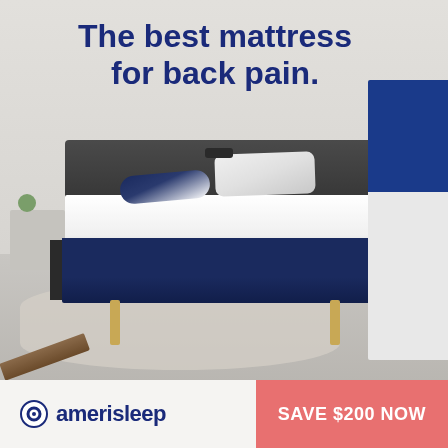The best mattress for back pain.
[Figure (photo): Amerisleep mattress on a dark-framed bed in a bedroom setting, with pillows, a nightstand with a plant, and a product box on the right side.]
amerisleep
SAVE $200 NOW